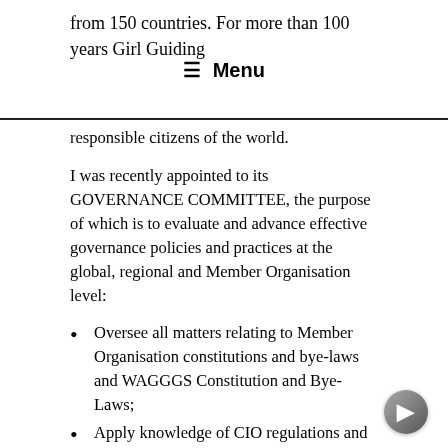from 150 countries. For more than 100 years Girl Guiding
≡  Menu
responsible citizens of the world.
I was recently appointed to its GOVERNANCE COMMITTEE, the purpose of which is to evaluate and advance effective governance policies and practices at the global, regional and Member Organisation level:
Oversee all matters relating to Member Organisation constitutions and bye-laws and WAGGGS Constitution and Bye-Laws;
Apply knowledge of CIO regulations and responsibilities and of relevant UK Law to ensure compliance as well as strengthen WAGGGS' current and future position;